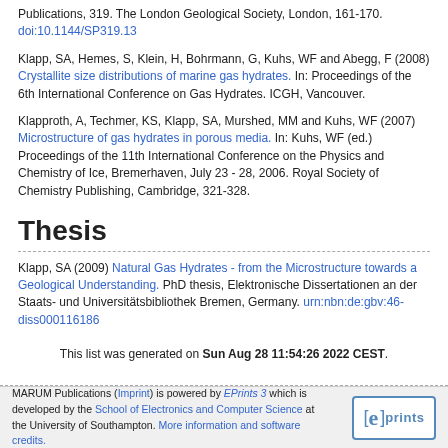Publications, 319. The London Geological Society, London, 161-170. doi:10.1144/SP319.13
Klapp, SA, Hemes, S, Klein, H, Bohrmann, G, Kuhs, WF and Abegg, F (2008) Crystallite size distributions of marine gas hydrates. In: Proceedings of the 6th International Conference on Gas Hydrates. ICGH, Vancouver.
Klapproth, A, Techmer, KS, Klapp, SA, Murshed, MM and Kuhs, WF (2007) Microstructure of gas hydrates in porous media. In: Kuhs, WF (ed.) Proceedings of the 11th International Conference on the Physics and Chemistry of Ice, Bremerhaven, July 23 - 28, 2006. Royal Society of Chemistry Publishing, Cambridge, 321-328.
Thesis
Klapp, SA (2009) Natural Gas Hydrates - from the Microstructure towards a Geological Understanding. PhD thesis, Elektronische Dissertationen an der Staats- und Universitätsbibliothek Bremen, Germany. urn:nbn:de:gbv:46-diss000116186
This list was generated on Sun Aug 28 11:54:26 2022 CEST.
MARUM Publications (Imprint) is powered by EPrints 3 which is developed by the School of Electronics and Computer Science at the University of Southampton. More information and software credits.